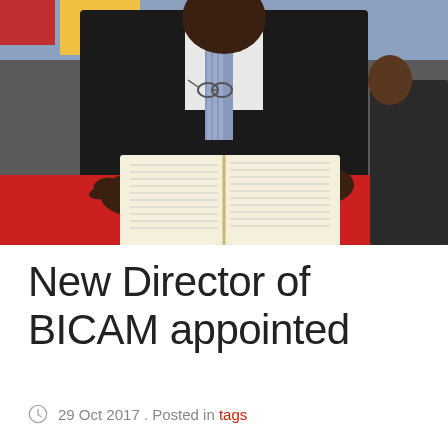[Figure (photo): A person in a dark suit with a cross pin and striped tie, seated at a table covered with a red cloth, reading or referencing a large open book. The background shows colorful fabric and another person partially visible.]
New Director of BICAM appointed
29 Oct 2017 . Posted in tags